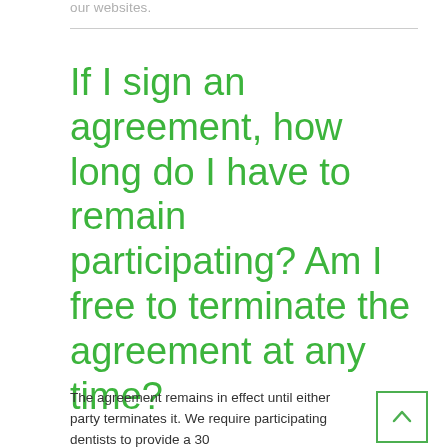our websites.
If I sign an agreement, how long do I have to remain participating? Am I free to terminate the agreement at any time?
The agreement remains in effect until either party terminates it. We require participating dentists to provide a 30